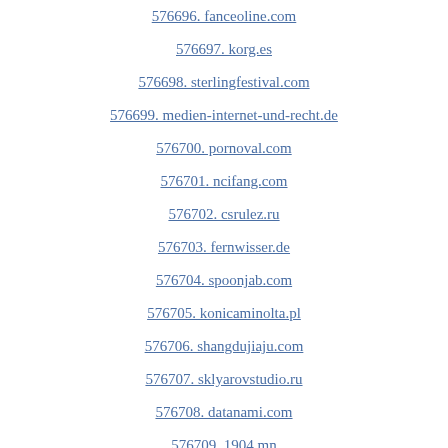576696. fanceoline.com
576697. korg.es
576698. sterlingfestival.com
576699. medien-internet-und-recht.de
576700. pornoval.com
576701. ncifang.com
576702. csrulez.ru
576703. fernwisser.de
576704. spoonjab.com
576705. konicaminolta.pl
576706. shangdujiaju.com
576707. sklyarovstudio.ru
576708. datanami.com
576709. 1904.mn
576710. ongrainfo.com